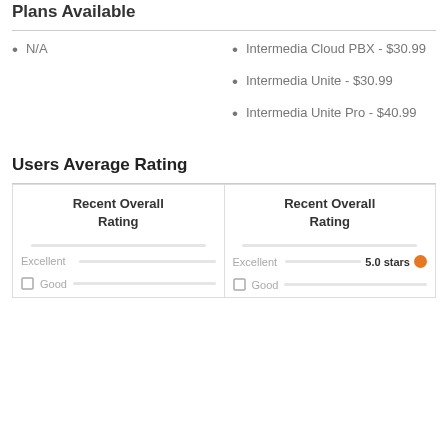Plans Available
N/A
Intermedia Cloud PBX - $30.99
Intermedia Unite - $30.99
Intermedia Unite Pro - $40.99
Users Average Rating
| Recent Overall Rating | Recent Overall Rating |
| --- | --- |
| Excellent | Excellent  5.0 stars |
| Good | Good |
5.0 stars